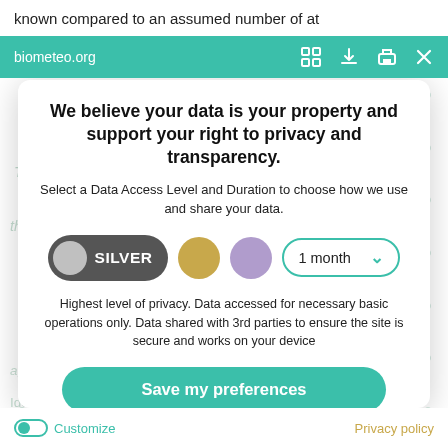known compared to an assumed number of at
biometeo.org
We believe your data is your property and support your right to privacy and transparency.
Select a Data Access Level and Duration to choose how we use and share your data.
[Figure (infographic): Privacy level selector showing: SILVER pill toggle (dark gray with gray circle icon), gold circle option, purple circle option, and a '1 month' dropdown with teal border and chevron]
Highest level of privacy. Data accessed for necessary basic operations only. Data shared with 3rd parties to ensure the site is secure and works on your device
Save my preferences
Customize   Privacy policy